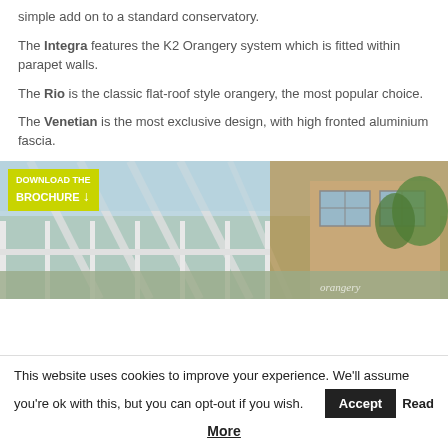simple add on to a standard conservatory.
The Integra features the K2 Orangery system which is fitted within parapet walls.
The Rio is the classic flat-roof style orangery, the most popular choice.
The Venetian is the most exclusive design, with high fronted aluminium fascia.
[Figure (photo): Conservatory/orangery product photo with a yellow-green 'Download the Brochure' badge overlay. Shows interior and exterior views of a glass conservatory attached to a brick house.]
This website uses cookies to improve your experience. We'll assume you're ok with this, but you can opt-out if you wish. Accept | Read More